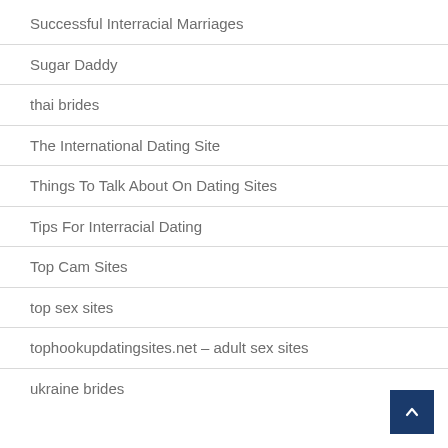Successful Interracial Marriages
Sugar Daddy
thai brides
The International Dating Site
Things To Talk About On Dating Sites
Tips For Interracial Dating
Top Cam Sites
top sex sites
tophookupdatingsites.net – adult sex sites
ukraine brides